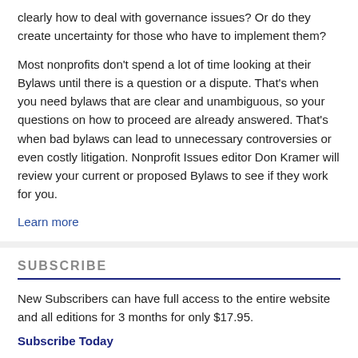clearly how to deal with governance issues? Or do they create uncertainty for those who have to implement them?
Most nonprofits don't spend a lot of time looking at their Bylaws until there is a question or a dispute. That's when you need bylaws that are clear and unambiguous, so your questions on how to proceed are already answered. That's when bad bylaws can lead to unnecessary controversies or even costly litigation. Nonprofit Issues editor Don Kramer will review your current or proposed Bylaws to see if they work for you.
Learn more
SUBSCRIBE
New Subscribers can have full access to the entire website and all editions for 3 months for only $17.95.
Subscribe Today
Here's what our readers say about Nonprofit Issues: Thanks again for your excellent and helpful website - it's a wonderful resource for the non-profit community! --Stephanie H.